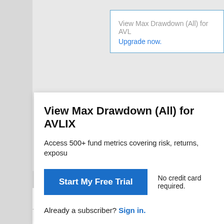View Max Drawdown (All) for AVL
Upgrade now.
View Max Drawdown (All) for AVLIX
Access 500+ fund metrics covering risk, returns, exposu
Start My Free Trial
No credit card required.
Already a subscriber? Sign in.
| Date |  | Value | Date |
| --- | --- | --- | --- |
| August 31, 2022 |  | -- | July 31, 2020 |
| July 31, 2022 |  | -- | June 30, 2020 |